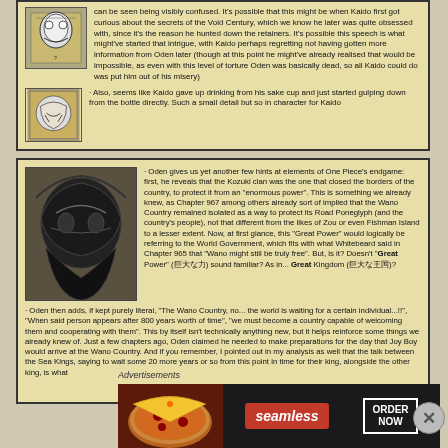can be seen being visibly confused. It's possible that this might be when Kaido first got curious about the secrets of the Void Century, which we know he later was quite obsessed with, since it's the reason he hunted down the retainers. It's possible this speech is what might've started that intrigue, with Kaido perhaps regretting not having gotten more information from Oden later (though at this point he might've already realised that would be impossible, as even with this level of torture Oden was basically dead, so all Kaido could do was put him out of his misery)
· Also, seems like Kaido gave up drinking from his sake cup and just started gulping down from the bottle directly. Such a small detail but so in character for Kaido
· Oden gives us yet another few hints at elements of One Piece's endgame: first, he reveals that the Kozuki clan was the one that closed the borders of the country, to protect it from an "enormous power". This is something we already knew, as Chapter 967 among others already sort of implied that the Wano Country remained isolated as a way to protect its Road Poneglyph (and the country's people), not that different from the likes of Zou or even Fishman Island to a lesser extent. Now, at first glance, this "Great Power" would logically be referring to the World Government, which fits with what Whitebeard said in Chapter 965 that "Wano might still be truly free". But, is it? Doesn't "Great Power" (巨大な力) sound familiar? As in... Great Kingdom (巨大な王国)?
· Oden then adds, if kept purely literal, "The Wano Country, no... the world is waiting for a certain individual...!!", "When said person appears after 800 years worth of time", "we must become a country capable of welcoming them and cooperating with them". This by itself isn't technically anything new, but it helps reinforce some things we already knew of. Just a few chapters ago, Oden claimed he needed to make preparations for the day that Joy Boy would arrive at the Wano Country. And if you remember, I pointed out in my analysis as well that the talk between the Sea Kings, saying to wait some 20 more years or so from this point in time for their king, alongside the other king, is what
Advertisements
[Figure (infographic): Ad banner for Seamless food delivery service with pizza image, Seamless logo in red box, and ORDER NOW button]